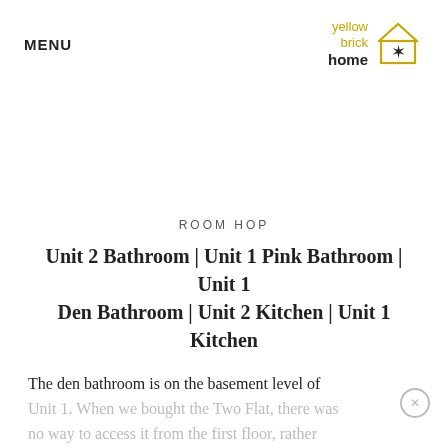MENU
[Figure (logo): Yellow Brick Home logo — text reading 'yellow brick home' next to a house outline with a star, in gold/black colors]
ROOM HOP
Unit 2 Bathroom | Unit 1 Pink Bathroom | Unit 1 Den Bathroom | Unit 2 Kitchen | Unit 1 Kitchen
The den bathroom is on the basement level of Unit 1. When we bought the Two Flat, there was no way to access it from the first floor, rather